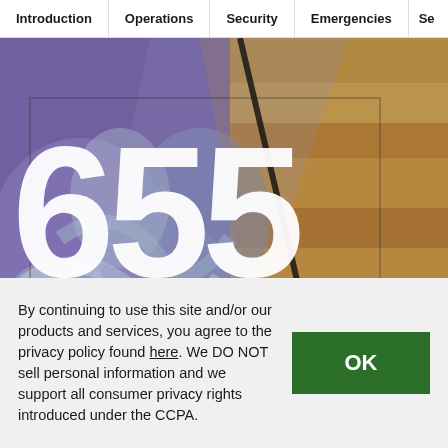Introduction | Operations | Security | Emergencies | Se
[Figure (photo): Hero image of 655 West Broadway building lobby artwork — large '655' number text and 'WEST BROADWAY' subtitle overlaid on a decorative art installation with purple/blue swirling paint against a wood paneled background]
By continuing to use this site and/or our products and services, you agree to the privacy policy found here. We DO NOT sell personal information and we support all consumer privacy rights introduced under the CCPA.